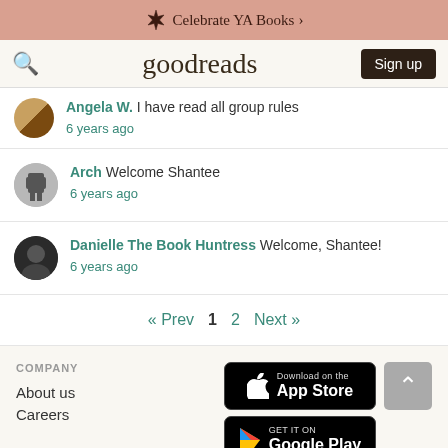Celebrate YA Books >
goodreads  Sign up
Angela W. I have read all group rules
6 years ago
Arch Welcome Shantee
6 years ago
Danielle The Book Huntress Welcome, Shantee!
6 years ago
« Prev  1  2  Next »
COMPANY
About us
Careers
Download on the App Store
GET IT ON Google Play